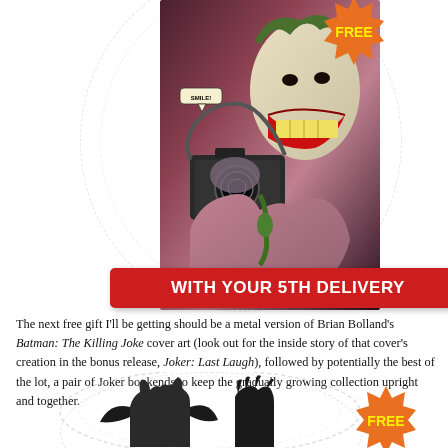[Figure (illustration): Comic book cover of Batman: The Killing Joke showing the Joker holding a camera and smiling, with a speech bubble saying 'SMILE!'. An orange 'FREE' badge is in the top right corner. Decorative dashed circular/hexagonal pattern in background.]
WITH YOUR 5TH DELIVERY
The next free gift I'll be getting should be a metal version of Brian Bolland's Batman: The Killing Joke cover art (look out for the inside story of that cover's creation in the bonus release, Joker: Last Laugh), followed by potentially the best of the lot, a pair of Joker bookends to keep the gradually growing collection upright and together.
[Figure (illustration): Silhouette of Batman and Joker figures against a decorative dashed circular background. An orange 'FREE' badge appears in the bottom right.]